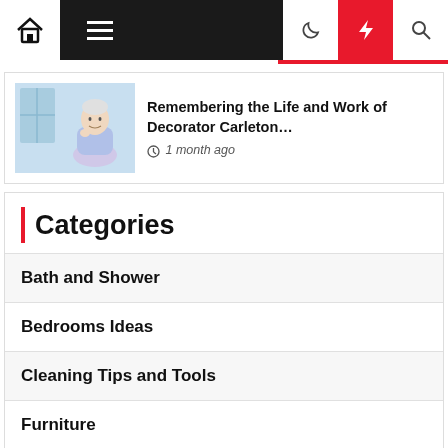Navigation bar with home, menu, moon, bolt, and search icons
Remembering the Life and Work of Decorator Carleton… 1 month ago
Categories
Bath and Shower
Bedrooms Ideas
Cleaning Tips and Tools
Furniture
Home Improvements